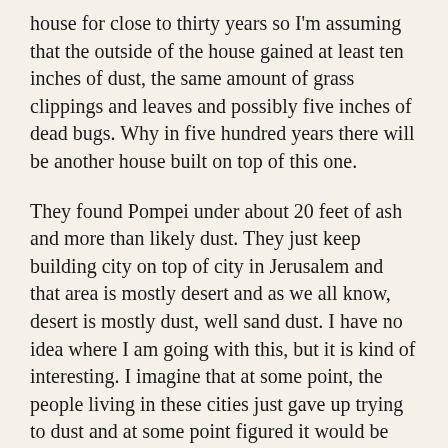house for close to thirty years so I'm assuming that the outside of the house gained at least ten inches of dust, the same amount of grass clippings and leaves and possibly five inches of dead bugs. Why in five hundred years there will be another house built on top of this one.
They found Pompei under about 20 feet of ash and more than likely dust. They just keep building city on top of city in Jerusalem and that area is mostly desert and as we all know, desert is mostly dust, well sand dust. I have no idea where I am going with this, but it is kind of interesting. I imagine that at some point, the people living in these cities just gave up trying to dust and at some point figured it would be easier to just move somewhere else and start again.
Well, not the people in Pompei, they died a horrible death from poisonous fumes and superheated air burning their lungs. What did they expect living at the base of a volcano? Most people move when the dust gets too deep, I